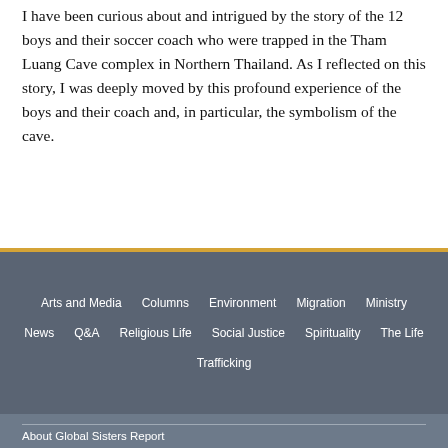I have been curious about and intrigued by the story of the 12 boys and their soccer coach who were trapped in the Tham Luang Cave complex in Northern Thailand. As I reflected on this story, I was deeply moved by this profound experience of the boys and their coach and, in particular, the symbolism of the cave.
Arts and Media
Columns
Environment
Migration
Ministry
News
Q&A
Religious Life
Social Justice
Spirituality
The Life
Trafficking
About Global Sisters Report